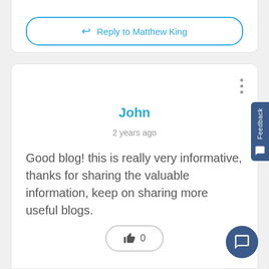Reply to Matthew King
John
2 years ago
Good blog! this is really very informative, thanks for sharing the valuable information, keep on sharing more useful blogs.
👍 0